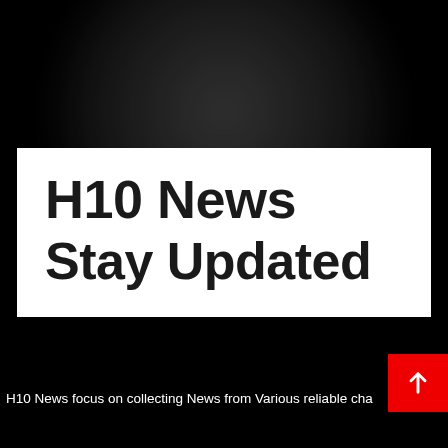[Figure (logo): H10 News logo on white background with dark text reading 'H10 News' and 'Stay Updated', set against a black background with a blurred dark circular graphic element.]
H10 News focus on collecting News from Various reliable cha